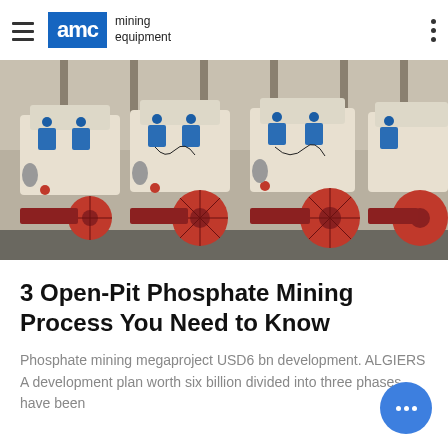AMC mining equipment
[Figure (photo): Row of industrial mining cone crusher machines in cream/white color with blue hydraulic fittings and red wheels, photographed in a workshop or factory setting.]
3 Open-Pit Phosphate Mining Process You Need to Know
Phosphate mining megaproject USD6 bn development. ALGIERS A development plan worth six billion divided into three phases have been